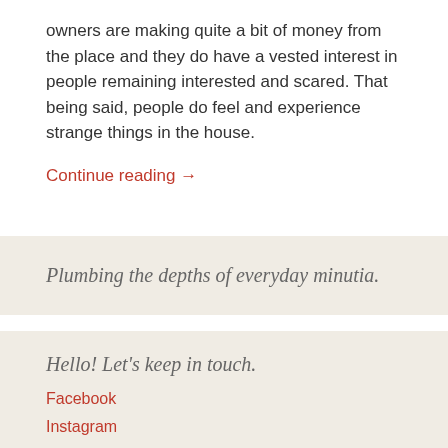owners are making quite a bit of money from the place and they do have a vested interest in people remaining interested and scared. That being said, people do feel and experience strange things in the house.
Continue reading →
Plumbing the depths of everyday minutia.
Hello! Let's keep in touch.
Facebook
Instagram